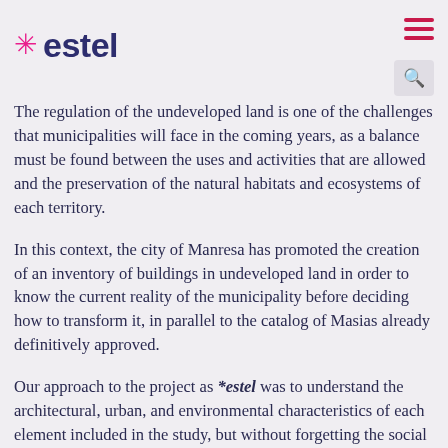estel
The regulation of the undeveloped land is one of the challenges that municipalities will face in the coming years, as a balance must be found between the uses and activities that are allowed and the preservation of the natural habitats and ecosystems of each territory.
In this context, the city of Manresa has promoted the creation of an inventory of buildings in undeveloped land in order to know the current reality of the municipality before deciding how to transform it, in parallel to the catalog of Masias already definitively approved.
Our approach to the project as *estel was to understand the architectural, urban, and environmental characteristics of each element included in the study, but without forgetting the social and human components that these constructions have. In an environment such as Manresa, they play a key role in structuring and articulating the territory, and in defining the character and identity of the people who inhabit it.